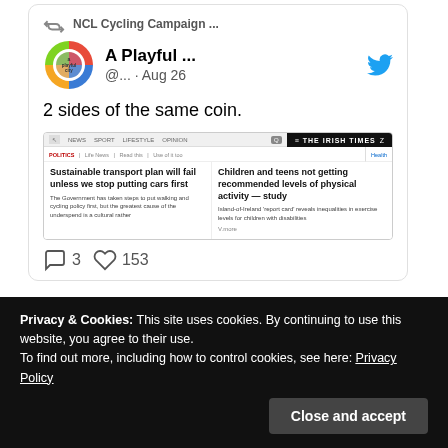[Figure (screenshot): A Tweet screenshot from 'A Playful City' account (@...) dated Aug 26, retweeted by NCL Cycling Campaign. Tweet text: '2 sides of the same coin.' with an embedded screenshot showing two Irish news articles side by side: 'Sustainable transport plan will fail unless we stop putting cars first' (left) and 'Children and teens not getting recommended levels of physical activity — study' (The Irish Times, right). Engagement: 3 comments, 153 likes.]
Privacy & Cookies: This site uses cookies. By continuing to use this website, you agree to their use. To find out more, including how to control cookies, see here: Privacy Policy